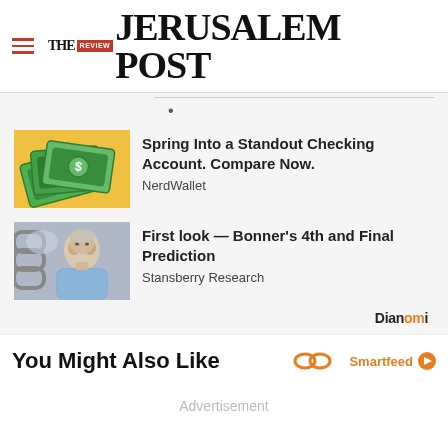THE JERUSALEM POST
[Figure (illustration): Three green dollar bills fanned out on a yellow/orange background]
Spring Into a Standout Checking Account. Compare Now.
NerdWallet
[Figure (photo): Older man in a blue shirt, financial expert photo]
First look — Bonner's 4th and Final Prediction
Stansberry Research
Dianomi
You Might Also Like
Smartfeed
Advertisement